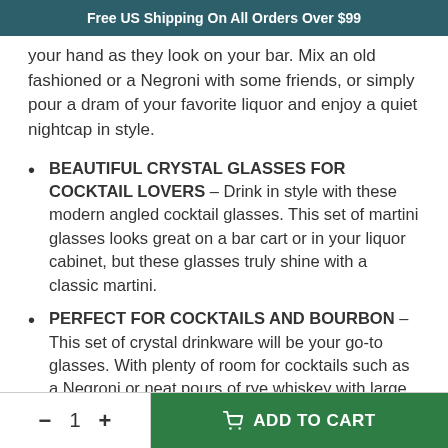Free US Shipping On All Orders Over $99
your hand as they look on your bar. Mix an old fashioned or a Negroni with some friends, or simply pour a dram of your favorite liquor and enjoy a quiet nightcap in style.
BEAUTIFUL CRYSTAL GLASSES FOR COCKTAIL LOVERS – Drink in style with these modern angled cocktail glasses. This set of martini glasses looks great on a bar cart or in your liquor cabinet, but these glasses truly shine with a classic martini.
PERFECT FOR COCKTAILS AND BOURBON – This set of crystal drinkware will be your go-to glasses. With plenty of room for cocktails such as a Negroni or neat pours of rye whiskey with large craft ice cubes, this barware will add